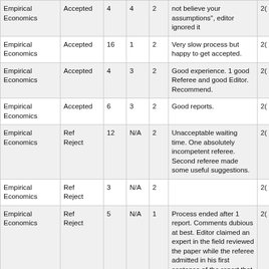| Journal | Decision | Col3 | Col4 | Col5 | Comments | Col7 |
| --- | --- | --- | --- | --- | --- | --- |
| Empirical Economics | Accepted | 4 | 4 | 2 | not believe your assumptions", editor ignored it | 2( |
| Empirical Economics | Accepted | 16 | 1 | 2 | Very slow process but happy to get accepted. | 2( |
| Empirical Economics | Accepted | 4 | 3 | 2 | Good experience. 1 good Referee and good Editor. Recommend. | 2( |
| Empirical Economics | Accepted | 6 | 3 | 2 | Good reports. | 2( |
| Empirical Economics | Ref Reject | 12 | N/A | 2 | Unacceptable waiting time. One absolutely incompetent referee. Second referee made some useful suggestions. | 2( |
| Empirical Economics | Ref Reject | 3 | N/A | 2 |  | 2( |
| Empirical Economics | Ref Reject | 5 | N/A | 1 | Process ended after 1 report. Comments dubious at best. Editor claimed an expert in the field reviewed the paper while the referee admitted in his first sentence of the report that he is not. | 2( |
|  |  |  |  |  | Initial response for R&R was quite fast, but the second response after the resubmission took quite a long time, and it seems that |  |